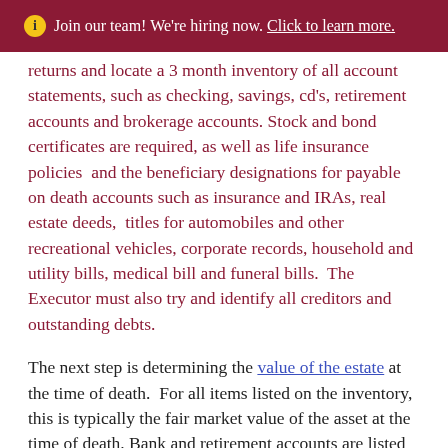ℹ Join our team! We're hiring now. Click to learn more.
returns and locate a 3 month inventory of all account statements, such as checking, savings, cd's, retirement accounts and brokerage accounts. Stock and bond certificates are required, as well as life insurance policies  and the beneficiary designations for payable on death accounts such as insurance and IRAs, real estate deeds,  titles for automobiles and other recreational vehicles, corporate records, household and utility bills, medical bill and funeral bills.  The Executor must also try and identify all creditors and outstanding debts.
The next step is determining the value of the estate at the time of death.  For all items listed on the inventory, this is typically the fair market value of the asset at the time of death. Bank and retirement accounts are listed per the most recent statements.